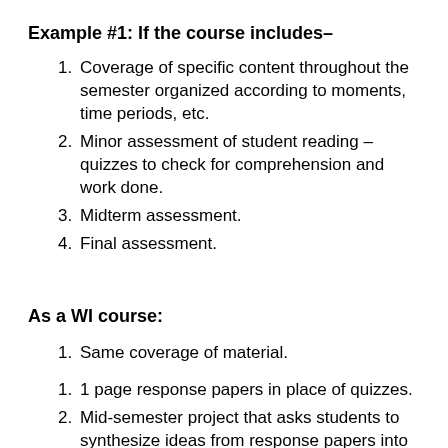Example #1: If the course includes–
Coverage of specific content throughout the semester organized according to moments, time periods, etc.
Minor assessment of student reading – quizzes to check for comprehension and work done.
Midterm assessment.
Final assessment.
As a WI course:
Same coverage of material.
1 page response papers in place of quizzes.
Mid-semester project that asks students to synthesize ideas from response papers into a 5 – 7 page paper on a key concept or idea. Time given